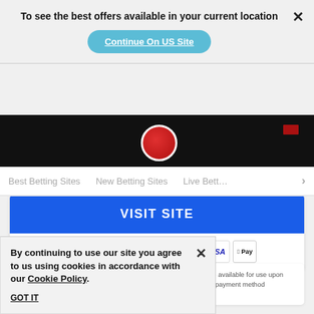To see the best offers available in your current location
Continue On US Site
Best Betting Sites
New Betting Sites
Live Bett…
VISIT SITE
[Figure (other): Row of payment method icons: cheque/echeck, BeGambleAware, paysafecard, PayPal, Entropay, Mastercard, Maestro, VISA, Apple Pay]
Min deposit requirement. Free Bets are paid as Bet Credits and are available for use upon settlement of bets to value of qualifying deposit. Min odds, bet and payment method exclusions apply. Returns exclude Bet Credits stake. T&Cs Apply
By continuing to use our site you agree to us using cookies in accordance with our Cookie Policy.
GOT IT